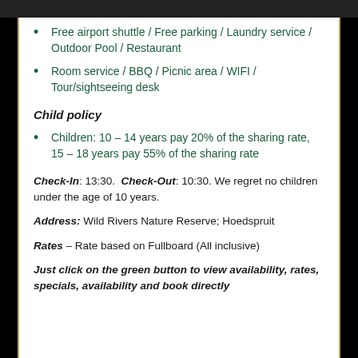Free airport shuttle / Free parking / Laundry service / Outdoor Pool / Restaurant
Room service / BBQ / Picnic area / WIFI / Tour/sightseeing desk
Child policy
Children: 10 – 14 years pay 20% of the sharing rate, 15 – 18 years pay 55% of the sharing rate
Check-In: 13:30. Check-Out: 10:30. We regret no children under the age of 10 years.
Address: Wild Rivers Nature Reserve; Hoedspruit
Rates – Rate based on Fullboard (All inclusive)
Just click on the green button to view availability, rates, specials, availability and book directly